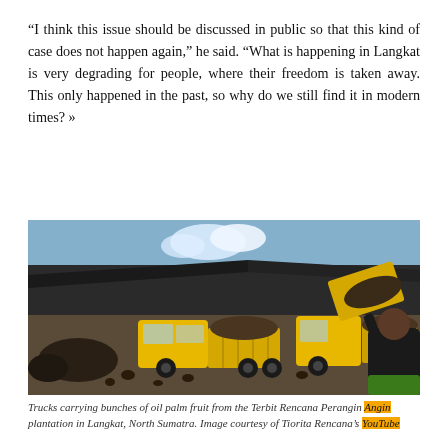“I think this issue should be discussed in public so that this kind of case does not happen again,” he said. “What is happening in Langkat is very degrading for people, where their freedom is taken away. This only happened in the past, so why do we still find it in modern times? »
[Figure (photo): Trucks carrying bunches of oil palm fruit at an industrial yard with a large warehouse roof, a man in a black jacket photographing the trucks, under a blue sky.]
Trucks carrying bunches of oil palm fruit from the Terbit Rencana Perangin Angin plantation in Langkat, North Sumatra. Image courtesy of Tiorita Rencana’s YouTube